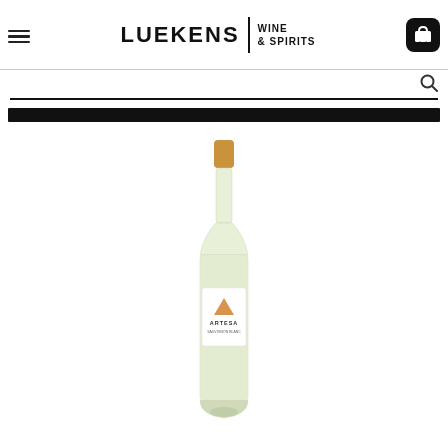Luekens Wine & Spirits
[Figure (screenshot): Search bar with magnifying glass icon and black navigation bar below]
[Figure (photo): White wine bottle with gold/tan cap, white label featuring orange triangle logo and text 'ARTESA']